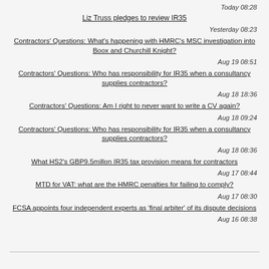Today 08:28
Liz Truss pledges to review IR35
Yesterday 08:23
Contractors' Questions: What's happening with HMRC's MSC investigation into Boox and Churchill Knight?
Aug 19 08:51
Contractors' Questions: Who has responsibility for IR35 when a consultancy supplies contractors?
Aug 18 18:36
Contractors' Questions: Am I right to never want to write a CV again?
Aug 18 09:24
Contractors' Questions: Who has responsibility for IR35 when a consultancy supplies contractors?
Aug 18 08:36
What HS2's GBP9.5millon IR35 tax provision means for contractors
Aug 17 08:44
MTD for VAT: what are the HMRC penalties for failing to comply?
Aug 17 08:30
FCSA appoints four independent experts as 'final arbiter' of its dispute decisions
Aug 16 08:38